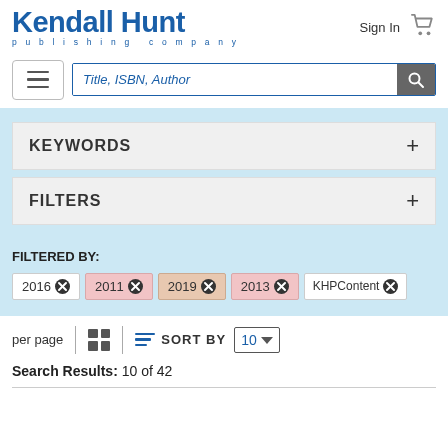[Figure (logo): Kendall Hunt publishing company logo in blue]
Sign In
[Figure (other): Shopping cart icon]
[Figure (other): Hamburger menu button]
Title, ISBN, Author
KEYWORDS
FILTERS
FILTERED BY:
2016 ✕   2011 ✕   2019 ✕   2013 ✕   KHPContent ✕
per page
SORT BY
10
Search Results: 10 of 42